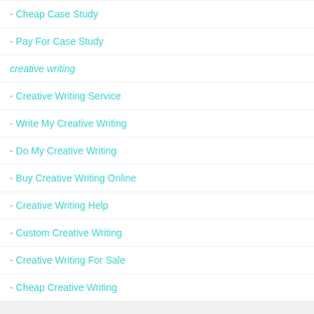- Cheap Case Study
- Pay For Case Study
creative writing
- Creative Writing Service
- Write My Creative Writing
- Do My Creative Writing
- Buy Creative Writing Online
- Creative Writing Help
- Custom Creative Writing
- Creative Writing For Sale
- Cheap Creative Writing